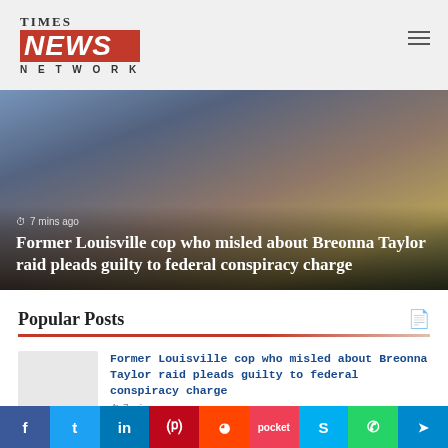[Figure (logo): Times News Network logo with red NEWS banner]
[Figure (photo): Person in blue police uniform holding flowers with flags in background]
⏱ 7 mins ago
Former Louisville cop who misled about Breonna Taylor raid pleads guilty to federal conspiracy charge
Popular Posts
[Figure (photo): Thumbnail image placeholder]
Former Louisville cop who misled about Breonna Taylor raid pleads guilty to federal conspiracy charge
⏱ 7 mins ago
[Figure (photo): Thumbnail image placeholder]
Samsung SmartThings can control your
f  t  in  P  r  pocket  S  whatsapp  telegram